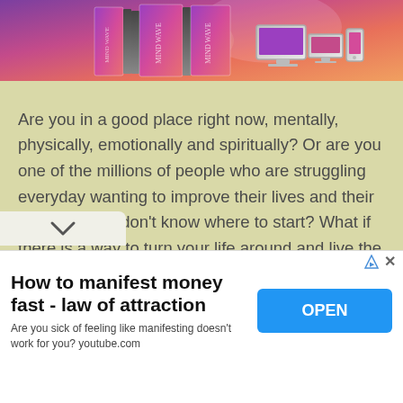[Figure (photo): Product image showing purple/pink branded boxes and digital device mockups (monitor, tablet, phone) on a gradient background]
Are you in a good place right now, mentally, physically, emotionally and spiritually? Or are you one of the millions of people who are struggling everyday wanting to improve their lives and their situations but don't know where to start? What if there is a way to turn your life around and live the life you have always dreamed of? Read on to know more about it.
[Figure (infographic): Chevron/down arrow UI element in a rounded rectangular tab]
How to manifest money fast - law of attraction
Are you sick of feeling like manifesting doesn't work for you? youtube.com